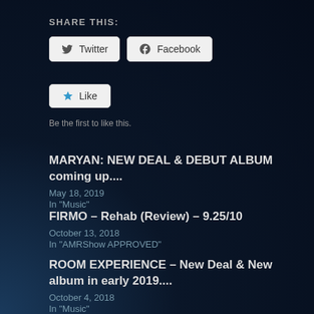SHARE THIS:
[Figure (other): Social share buttons: Twitter and Facebook]
[Figure (other): Like button with star icon]
Be the first to like this.
MARYAN: NEW DEAL & DEBUT ALBUM coming up....
May 18, 2019
In "Music"
FIRMO – Rehab (Review) – 9.25/10
October 13, 2018
In "AMRShow APPROVED"
ROOM EXPERIENCE – New Deal & New album in early 2019....
October 4, 2018
In "Music"